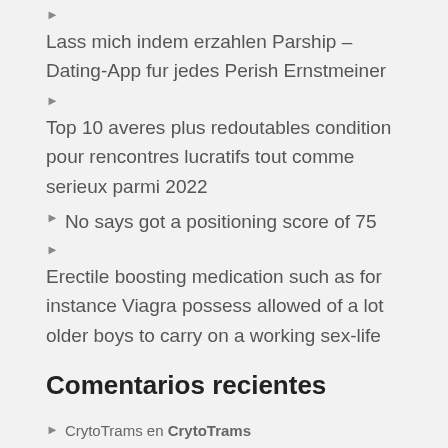▶
Lass mich indem erzahlen Parship – Dating-App fur jedes Perish Ernstmeiner
▶
Top 10 averes plus redoutables condition pour rencontres lucratifs tout comme serieux parmi 2022
▶  No says got a positioning score of 75
▶
Erectile boosting medication such as for instance Viagra possess allowed of a lot older boys to carry on a working sex-life
Comentarios recientes
▶ CrytoTrams en CrytoTrams
▶ CrytoTrams en CrytoTrams